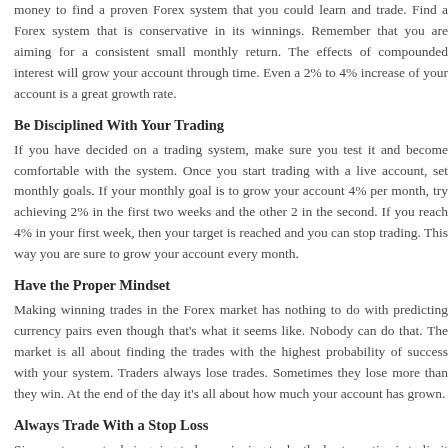money to find a proven Forex system that you could learn and trade. Find a Forex system that is conservative in its winnings. Remember that you are aiming for a consistent small monthly return. The effects of compounded interest will grow your account through time. Even a 2% to 4% increase of your account is a great growth rate.
Be Disciplined With Your Trading
If you have decided on a trading system, make sure you test it and become comfortable with the system. Once you start trading with a live account, set monthly goals. If your monthly goal is to grow your account 4% per month, try achieving 2% in the first two weeks and the other 2 in the second. If you reach 4% in your first week, then your target is reached and you can stop trading. This way you are sure to grow your account every month.
Have the Proper Mindset
Making winning trades in the Forex market has nothing to do with predicting currency pairs even though that's what it seems like. Nobody can do that. The market is all about finding the trades with the highest probability of success with your system. Traders always lose trades. Sometimes they lose more than they win. At the end of the day it's all about how much your account has grown.
Always Trade With a Stop Loss
Since not every trade is going to be a winning trade, the best practice is to limit your trade. A stop loss is the amount of money per trade that